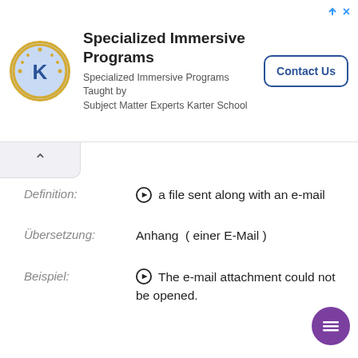[Figure (other): Advertisement banner for Specialized Immersive Programs by Karter School with logo, text, and Contact Us button]
Definition: ⊙ a file sent along with an e-mail
Übersetzung: Anhang ( einer E-Mail )
Beispiel: ⊙ The e-mail attachment could not be opened.